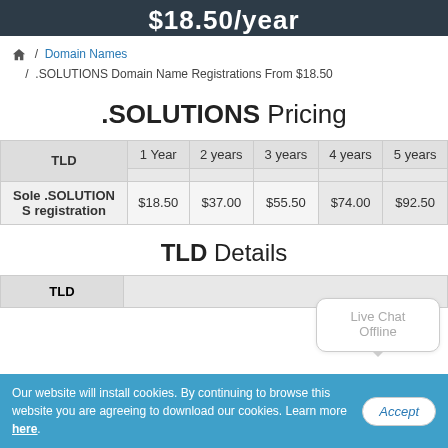$18.50/year
/ Domain Names / .SOLUTIONS Domain Name Registrations From $18.50
.SOLUTIONS Pricing
| TLD | 1 Year | 2 years | 3 years | 4 years | 5 years |
| --- | --- | --- | --- | --- | --- |
| Sole .SOLUTIONS registration | $18.50 | $37.00 | $55.50 | $74.00 | $92.50 |
TLD Details
| TLD |
| --- |
Our website will install cookies. By continuing to browse this website you are agreeing to download our cookies. Learn more here.